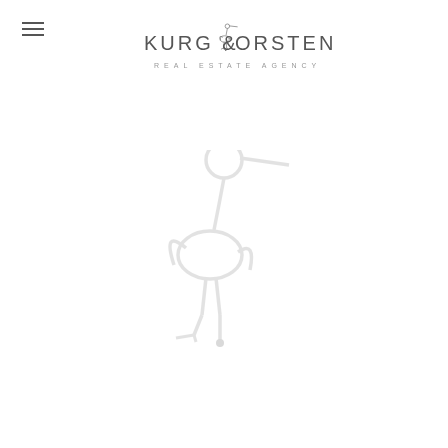[Figure (logo): Menu hamburger icon (three horizontal lines) in top left corner]
[Figure (logo): Kurg & Forsten Real Estate Agency logo with stork bird illustration and text]
[Figure (illustration): Large faint stork bird illustration centered on the page, matching the logo bird but larger and lighter]